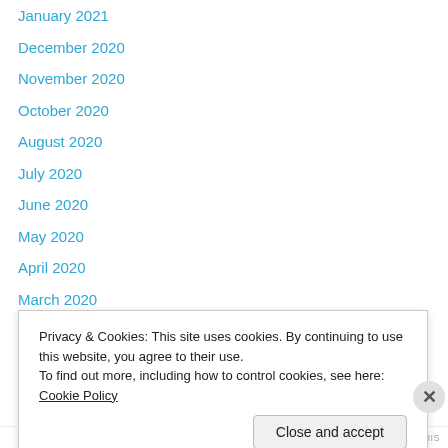January 2021
December 2020
November 2020
October 2020
August 2020
July 2020
June 2020
May 2020
April 2020
March 2020
February 2020
January 2020
December 2019
November 2019
Privacy & Cookies: This site uses cookies. By continuing to use this website, you agree to their use. To find out more, including how to control cookies, see here: Cookie Policy
Close and accept